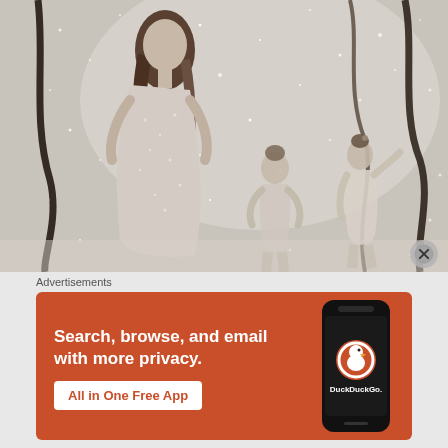[Figure (photo): Black and white photograph showing a tall young woman in a sparkly dress posing with hands on hips, with two small ballerina children in the background, confetti or sparkles in the air, dark ribbon streamers hanging in the scene.]
Advertisements
[Figure (screenshot): DuckDuckGo advertisement banner with orange background. Left side text: 'Search, browse, and email with more privacy. All in One Free App'. Right side shows a smartphone mockup with the DuckDuckGo duck logo and 'DuckDuckGo.' brand name.]